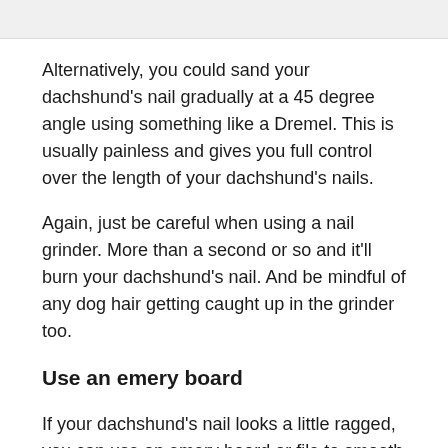[Figure (photo): Partial image at top of page, light gray/white background]
Alternatively, you could sand your dachshund's nail gradually at a 45 degree angle using something like a Dremel. This is usually painless and gives you full control over the length of your dachshund's nails.
Again, just be careful when using a nail grinder. More than a second or so and it'll burn your dachshund's nail. And be mindful of any dog hair getting caught up in the grinder too.
Use an emery board
If your dachshund's nail looks a little ragged, you can use an emery board or file to smooth out the edges. You won't need to do this if you use a nail grinder as